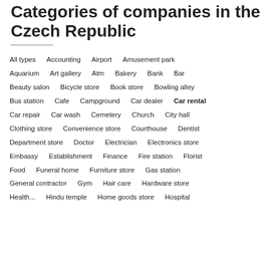Categories of companies in the Czech Republic
All types
Accounting
Airport
Amusement park
Aquarium
Art gallery
Atm
Bakery
Bank
Bar
Beauty salon
Bicycle store
Book store
Bowling alley
Bus station
Cafe
Campground
Car dealer
Car rental
Car repair
Car wash
Cemetery
Church
City hall
Clothing store
Convenience store
Courthouse
Dentist
Department store
Doctor
Electrician
Electronics store
Embassy
Establishment
Finance
Fire station
Florist
Food
Funeral home
Furniture store
Gas station
General contractor
Gym
Hair care
Hardware store
Health...
Hindu temple
Home goods store
Hospital